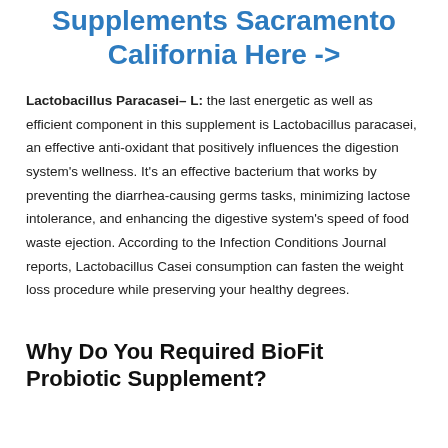Supplements Sacramento California Here ->
Lactobacillus Paracasei– L: the last energetic as well as efficient component in this supplement is Lactobacillus paracasei, an effective anti-oxidant that positively influences the digestion system's wellness. It's an effective bacterium that works by preventing the diarrhea-causing germs tasks, minimizing lactose intolerance, and enhancing the digestive system's speed of food waste ejection. According to the Infection Conditions Journal reports, Lactobacillus Casei consumption can fasten the weight loss procedure while preserving your healthy degrees.
Why Do You Required BioFit Probiotic Supplement?